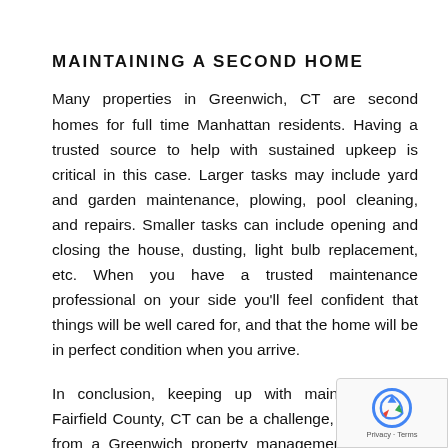MAINTAINING A SECOND HOME
Many properties in Greenwich, CT are second homes for full time Manhattan residents. Having a trusted source to help with sustained upkeep is critical in this case. Larger tasks may include yard and garden maintenance, plowing, pool cleaning, and repairs. Smaller tasks can include opening and closing the house, dusting, light bulb replacement, etc. When you have a trusted maintenance professional on your side you'll feel confident that things will be well cared for, and that the home will be in perfect condition when you arrive.
In conclusion, keeping up with maintenance in Fairfield County, CT can be a challenge, but support from a Greenwich property management company can make a difference. At Duffy Home Solutions we provide year round maintenance support for virtually any task, large or small.